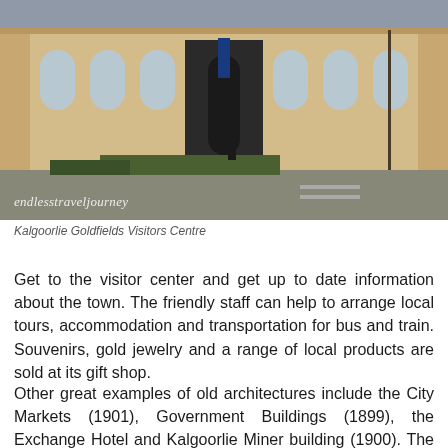[Figure (photo): Exterior photograph of the Kalgoorlie Goldfields Visitors Centre, a historic building with arched windows and ornate facade. The image has a watermark reading 'endlesstraveljourney'.]
Kalgoorlie Goldfields Visitors Centre
Get to the visitor center and get up to date information about the town. The friendly staff can help to arrange local tours, accommodation and transportation for bus and train. Souvenirs, gold jewelry and a range of local products are sold at its gift shop.
Other great examples of old architectures include the City Markets (1901), Government Buildings (1899), the Exchange Hotel and Kalgoorlie Miner building (1900). The WA Museum Kalgoorlie-Boulder and Mining Hall of Fame located at the top end of Hannan Street showcase mining past and present with